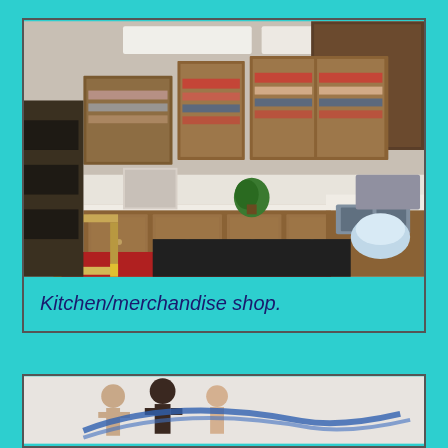[Figure (photo): Interior photo of a kitchen/merchandise shop with wood cabinets filled with products on shelves, white countertops, a sink area, red floor, and a small wooden bench/stool on the left side.]
Kitchen/merchandise shop.
[Figure (photo): Partial view of what appears to be decorative figures or sculptures on a white background, partially cut off at bottom of page.]